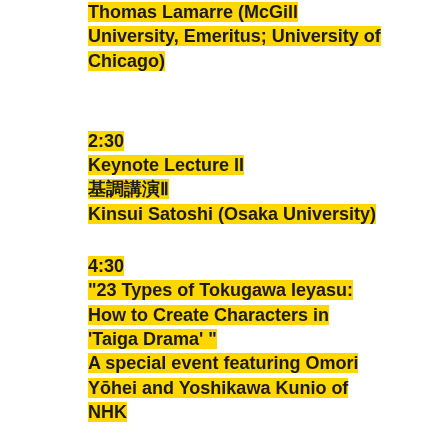Thomas Lamarre (McGill University, Emeritus; University of Chicago)
2:30
Keynote Lecture II
基調講演 II
Kinsui Satoshi (Osaka University)
4:30
“23 Types of Tokugawa Ieyasu: How to Create Characters in ‘Taiga Drama’ ”
A special event featuring Omori Yōhei and Yoshikawa Kunio of NHK